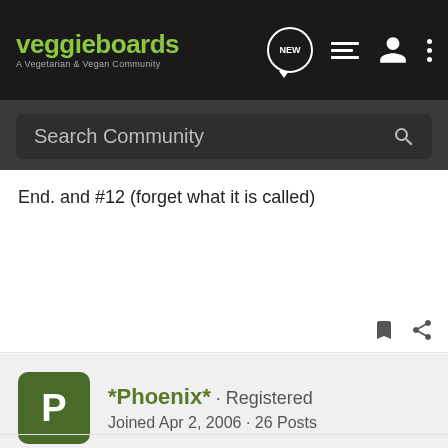[Figure (screenshot): VeggieBoards website header with logo, navigation icons (NEW chat bubble, list icon, user icon, more options icon), and a Search Community search bar on dark background]
End. and #12 (forget what it is called)
*Phoenix* · Registered
Joined Apr 2, 2006 · 26 Posts
#2 · Nov 3, 2006
I love MCR & I love TBP-I think that it's the best album they have produced so far.
I love the whole album, but my top 3 faves are "Famous